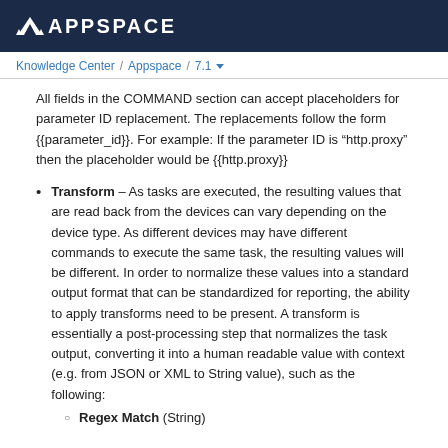APPSPACE
Knowledge Center / Appspace / 7.1
All fields in the COMMAND section can accept placeholders for parameter ID replacement. The replacements follow the form {{parameter_id}}. For example: If the parameter ID is “http.proxy” then the placeholder would be {{http.proxy}}
Transform – As tasks are executed, the resulting values that are read back from the devices can vary depending on the device type. As different devices may have different commands to execute the same task, the resulting values will be different. In order to normalize these values into a standard output format that can be standardized for reporting, the ability to apply transforms need to be present. A transform is essentially a post-processing step that normalizes the task output, converting it into a human readable value with context (e.g. from JSON or XML to String value), such as the following:
Regex Match (String)